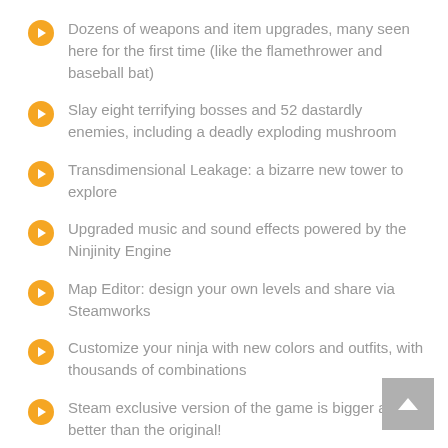Dozens of weapons and item upgrades, many seen here for the first time (like the flamethrower and baseball bat)
Slay eight terrifying bosses and 52 dastardly enemies, including a deadly exploding mushroom
Transdimensional Leakage: a bizarre new tower to explore
Upgraded music and sound effects powered by the Ninjinity Engine
Map Editor: design your own levels and share via Steamworks
Customize your ninja with new colors and outfits, with thousands of combinations
Steam exclusive version of the game is bigger and better than the original!